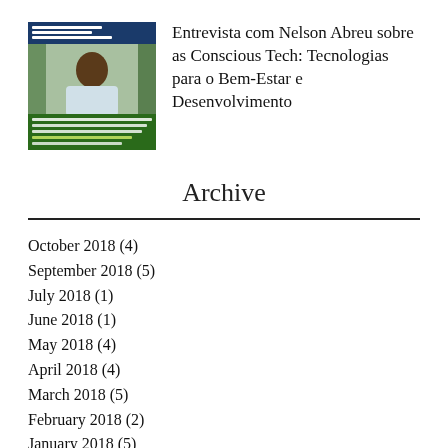[Figure (photo): Thumbnail image for an interview article about Nelson Abreu and Conscious Tech]
Entrevista com Nelson Abreu sobre as Conscious Tech: Tecnologias para o Bem-Estar e Desenvolvimento
Archive
October 2018 (4)
September 2018 (5)
July 2018 (1)
June 2018 (1)
May 2018 (4)
April 2018 (4)
March 2018 (5)
February 2018 (2)
January 2018 (5)
December 2017 (7)